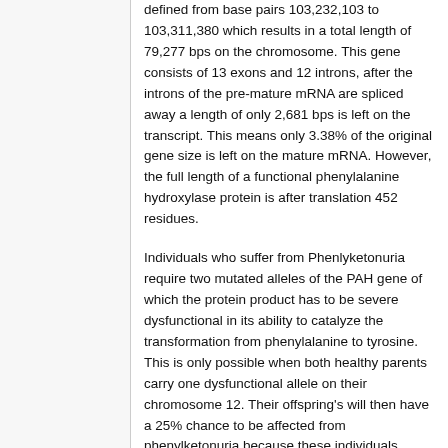defined from base pairs 103,232,103 to 103,311,380 which results in a total length of 79,277 bps on the chromosome. This gene consists of 13 exons and 12 introns, after the introns of the pre-mature mRNA are spliced away a length of only 2,681 bps is left on the transcript. This means only 3.38% of the original gene size is left on the mature mRNA. However, the full length of a functional phenylalanine hydroxylase protein is after translation 452 residues.
Individuals who suffer from Phenlyketonuria require two mutated alleles of the PAH gene of which the protein product has to be severe dysfunctional in its ability to catalyze the transformation from phenylalanine to tyrosine. This is only possible when both healthy parents carry one dysfunctional allele on their chromosome 12. Their offspring's will then have a 25% chance to be affected from phenylketonuria because these individuals inherited both dysfunctional PAH alleles from their parents. Furthermore, there is only a 25%